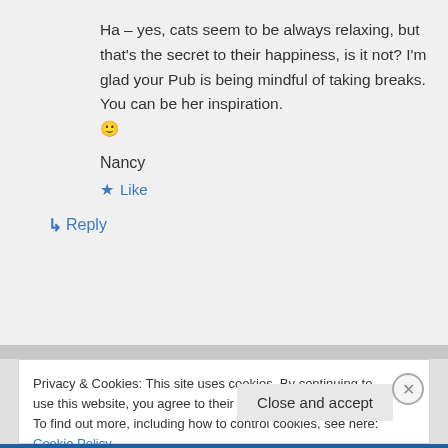Ha – yes, cats seem to be always relaxing, but that's the secret to their happiness, is it not? I'm glad your Pub is being mindful of taking breaks. You can be her inspiration. 🙂
Nancy
★ Like
↳ Reply
Privacy & Cookies: This site uses cookies. By continuing to use this website, you agree to their use. To find out more, including how to control cookies, see here: Cookie Policy
Close and accept